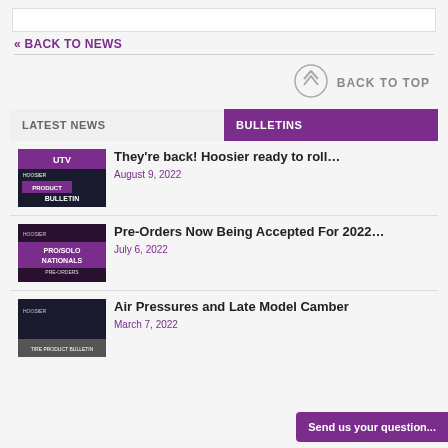« BACK TO NEWS
BACK TO TOP
LATEST NEWS | BULLETINS
[Figure (photo): Hoosier UTV Product Bulletin thumbnail]
They're back! Hoosier ready to roll…
August 9, 2022
[Figure (photo): Hoosier Pro/Solo Nationals Pre-Orders thumbnail]
Pre-Orders Now Being Accepted For 2022…
July 6, 2022
[Figure (photo): Hoosier Air Pressures product bulletin thumbnail]
Air Pressures and Late Model Camber
March 7, 2022
Send us your question...